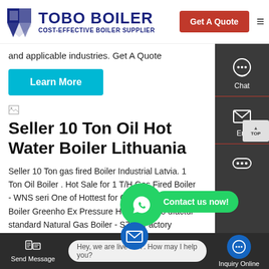TOBO BOILER - COST-EFFECTIVE BOILER SUPPLIER | Get A Quote
and applicable industries. Get A Quote
Learn More
Seller 10 Ton Oil Hot Water Boiler Lithuania
Seller 10 Ton gas fired Boiler Industrial Latvia. 1 Ton Oil Boiler . Hot Sale for 1 T/H Gas Fired Boiler - WNS seri One of Hottest for Gas Hot Water Boiler Greenho Ex Pressure Hot Water Bo ufactur standard Natural Gas Boiler - SZL c Factory selling 20 Ton Oil Gas Fired Boile w pric Treat Boile
Send Message | Hey, we are live 24/7. How may I help you? | Inquiry Online